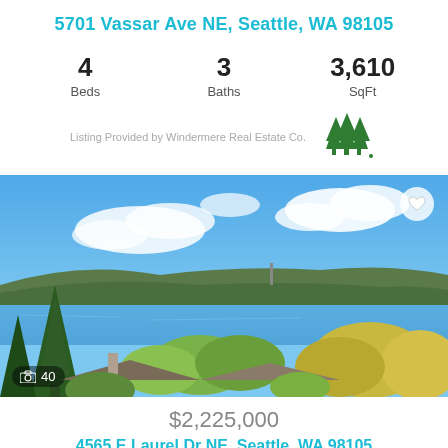5701 Vassar Ave NE, Seattle, WA 98105
4 Beds  3 Baths  3,610 SqFt
[Figure (logo): Windermere Real Estate logo — three stylized green trees]
Listing Provided by Windermere Real Estate Co.
[Figure (photo): Exterior view from property showing lake, mountains, and trees under blue sky with clouds; camera icon and '40' photo count overlay in bottom left; heart icon in top right]
$2,225,000
4565 E Laurel Dr NE, Seattle, WA 98105